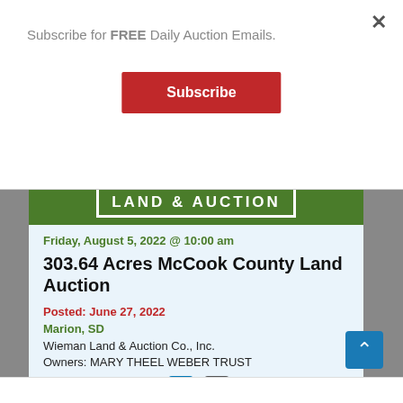Subscribe for FREE Daily Auction Emails.
Subscribe
[Figure (logo): Wieman Land & Auction company logo — green background with white bold text reading LAND & AUCTION]
Friday, August 5, 2022 @ 10:00 am
303.64 Acres McCook County Land Auction
Posted: June 27, 2022
Marion, SD
Wieman Land & Auction Co., Inc.
Owners: MARY THEEL WEBER TRUST
Share: